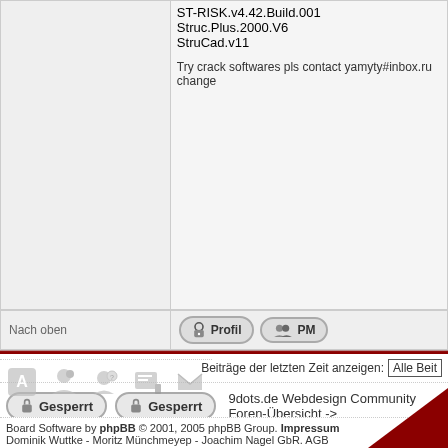ST-RISK.v4.42.Build.001
Struc.Plus.2000.V6
StruCad.v11
Try crack softwares pls contact yamyty#inbox.ru change
Nach oben
Profil   PM
Beiträge der letzten Zeit anzeigen:  Alle Beit
Gesperrt  Gesperrt  9dots.de Webdesign Community Foren-Übersicht ->
Seite 1 von 1
Board Software by phpBB © 2001, 2005 phpBB Group. Impressum
Dominik Wuttke - Moritz Münchmeyер - Joachim Nagel GbR. AGB